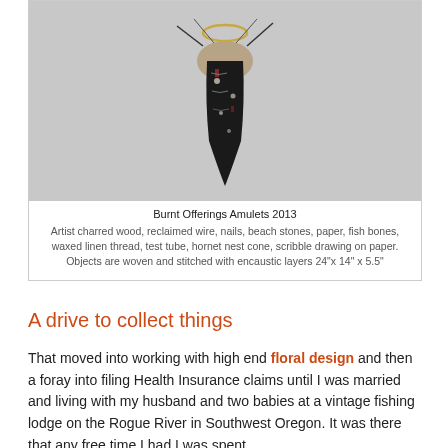[Figure (photo): A hanging sculptural artwork made of charred wood, wire, and mixed materials against a light grey background.]
Burnt Offerings Amulets 2013
Artist charred wood, reclaimed wire, nails, beach stones, paper, fish bones, waxed linen thread, test tube, hornet nest cone, scribble drawing on paper. Objects are woven and stitched with encaustic layers 24"x 14" x 5.5"
A drive to collect things
That moved into working with high end floral design and then a foray into filing Health Insurance claims until I was married and living with my husband and two babies at a vintage fishing lodge on the Rogue River in Southwest Oregon. It was there that any free time I had I was spent